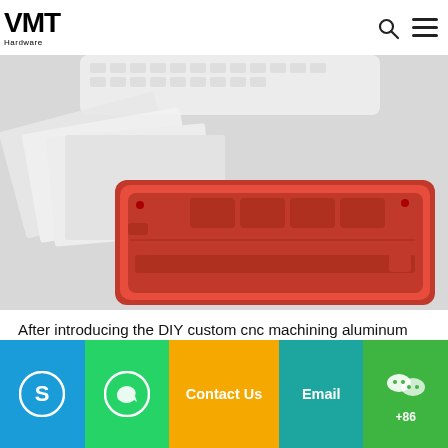VMT Hardware (logo)
[Figure (photo): Red anodized aluminum CNC machined keyboard case/frame next to white paper sheets/prototypes on a white background, keyboard keys visible at top]
After introducing the DIY custom cnc machining aluminum keyboard case to everyone, you will know it better. We not only cover all the information you want to know about the aluminum alloy mechanical frame, but also provide you with high-quality services to make your DIY journey smoother.
Skype | WhatsApp | Contact Us | Email | WeChat +86